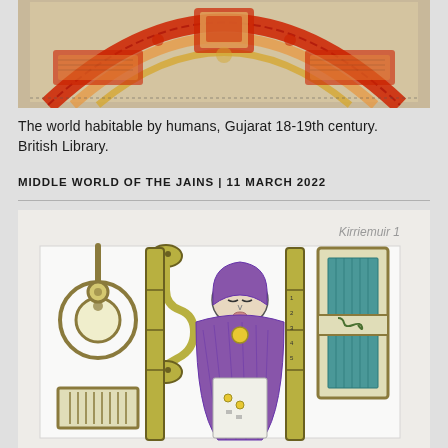[Figure (illustration): Partial view of a Jain cosmological painting from Gujarat, 18-19th century, showing colorful mandala-like artwork with red and decorative elements on aged paper background. British Library collection.]
The world habitable by humans, Gujarat 18-19th century. British Library.
MIDDLE WORLD OF THE JAINS | 11 MARCH 2022
[Figure (illustration): Kirriemuir 1 - A pencil and watercolour drawing showing a figure wrapped in purple robes with closed eyes, surrounded by yellow/olive coloured objects including what appear to be Pictish symbol stone motifs - a circular object on left, snake-head shapes, and a decorated rectangular panel on the right with teal/green textile.]